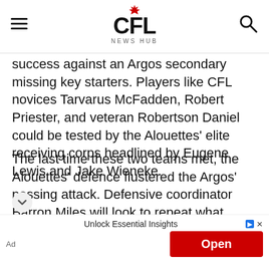CFL NEWS HUB
success against an Argos secondary missing key starters. Players like CFL novices Tarvarus McFadden, Robert Priester, and veteran Robertson Daniel could be tested by the Alouettes' elite receiving corps headlined by Eugene Lewis and Jake Wieneke.
The last time these two teams met, the Alouettes' defence flustered the Argos' passing attack. Defensive coordinator Barron Miles will look to repeat what Montreal did last year to frustrate McLeod Bethel-Thompson and Toronto's offensive line. Montreal used a variety of different blitzes to
Unlock Essential Insights
Ad